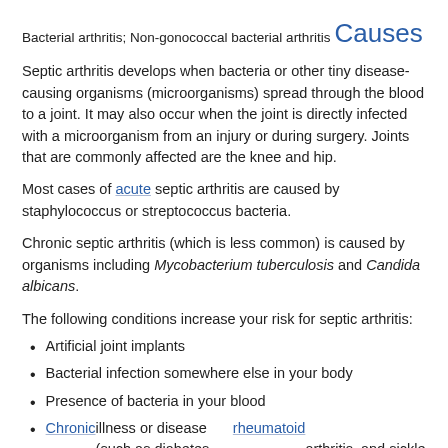Bacterial arthritis; Non-gonococcal bacterial arthritis
Causes
Septic arthritis develops when bacteria or other tiny disease-causing organisms (microorganisms) spread through the blood to a joint. It may also occur when the joint is directly infected with a microorganism from an injury or during surgery. Joints that are commonly affected are the knee and hip.
Most cases of acute septic arthritis are caused by staphylococcus or streptococcus bacteria.
Chronic septic arthritis (which is less common) is caused by organisms including Mycobacterium tuberculosis and Candida albicans.
The following conditions increase your risk for septic arthritis:
Artificial joint implants
Bacterial infection somewhere else in your body
Presence of bacteria in your blood
Chronic illness or disease (such as diabetes, rheumatoid arthritis, and sickle cell disease)